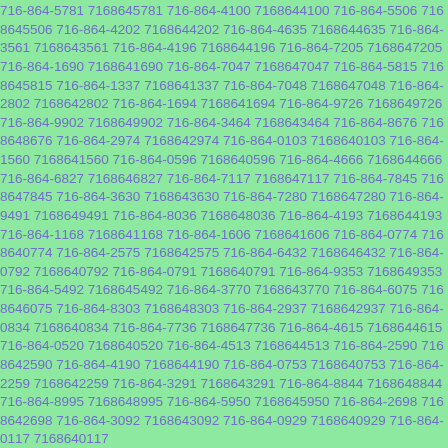716-864-5781 7168645781 716-864-4100 7168644100 716-864-5506 7168645506 716-864-4202 7168644202 716-864-4635 7168644635 716-864-3561 7168643561 716-864-4196 7168644196 716-864-7205 7168647205 716-864-1690 7168641690 716-864-7047 7168647047 716-864-5815 7168645815 716-864-1337 7168641337 716-864-7048 7168647048 716-864-2802 7168642802 716-864-1694 7168641694 716-864-9726 7168649726 716-864-9902 7168649902 716-864-3464 7168643464 716-864-8676 7168648676 716-864-2974 7168642974 716-864-0103 7168640103 716-864-1560 7168641560 716-864-0596 7168640596 716-864-4666 7168644666 716-864-6827 7168646827 716-864-7117 7168647117 716-864-7845 7168647845 716-864-3630 7168643630 716-864-7280 7168647280 716-864-9491 7168649491 716-864-8036 7168648036 716-864-4193 7168644193 716-864-1168 7168641168 716-864-1606 7168641606 716-864-0774 7168640774 716-864-2575 7168642575 716-864-6432 7168646432 716-864-0792 7168640792 716-864-0791 7168640791 716-864-9353 7168649353 716-864-5492 7168645492 716-864-3770 7168643770 716-864-6075 7168646075 716-864-8303 7168648303 716-864-2937 7168642937 716-864-0834 7168640834 716-864-7736 7168647736 716-864-4615 7168644615 716-864-0520 7168640520 716-864-4513 7168644513 716-864-2590 7168642590 716-864-4190 7168644190 716-864-0753 7168640753 716-864-2259 7168642259 716-864-3291 7168643291 716-864-8844 7168648844 716-864-8995 7168648995 716-864-5950 7168645950 716-864-2698 7168642698 716-864-3092 7168643092 716-864-0929 7168640929 716-864-0117 7168640117